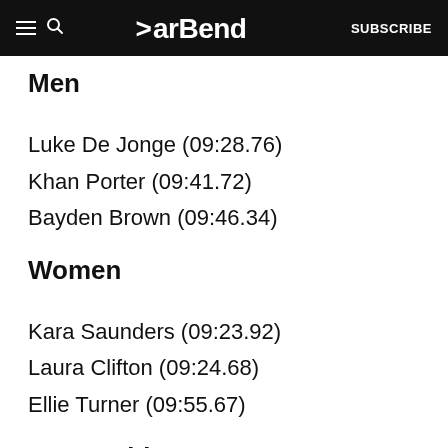BarBend — SUBSCRIBE
Men
Luke De Jonge (09:28.76)
Khan Porter (09:41.72)
Bayden Brown (09:46.34)
Women
Kara Saunders (09:23.92)
Laura Clifton (09:24.68)
Ellie Turner (09:55.67)
C&L Ladder